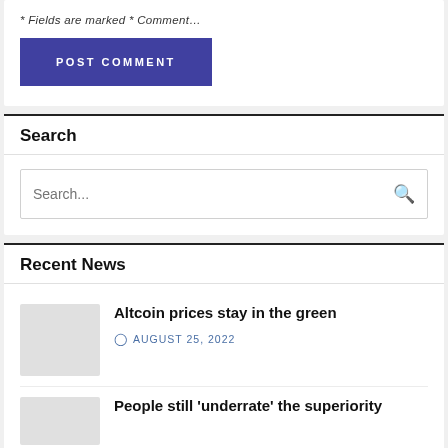* Fields are marked * Comment...
POST COMMENT
Search
Search...
Recent News
Altcoin prices stay in the green
AUGUST 25, 2022
People still 'underrate' the superiority